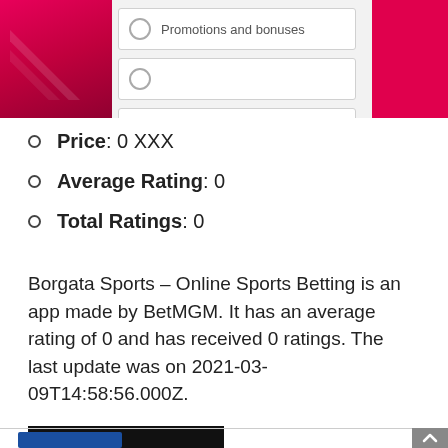[Figure (screenshot): Top portion of a mobile app screenshot showing radio button options including 'Promotions and bonuses', with pink/magenta decorative panels on left and right sides.]
Price: 0 XXX
Average Rating: 0
Total Ratings: 0
Borgata Sports – Online Sports Betting is an app made by BetMGM. It has an average rating of 0 and has received 0 ratings. The last update was on 2021-03-09T14:58:56.000Z.
[Figure (other): Black 'GET APP HERE' call-to-action button]
[Figure (other): Bottom partial blue image stub and scroll-to-top button]